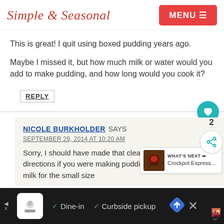Simple & Seasonal | MENU
This is great! I quit using boxed pudding years ago.
Maybe I missed it, but how much milk or water would you add to make pudding, and how long would you cook it?
REPLY
NICOLE BURKHOLDER SAYS
SEPTEMBER 29, 2014 AT 10:20 AM
Sorry, I should have made that clear! Yo... follow the box directions if you were making pudding. It was two cups of milk for the small size...
WHAT'S NEXT → Crockpot Express...
✓ Dine-in  ✓ Curbside pickup